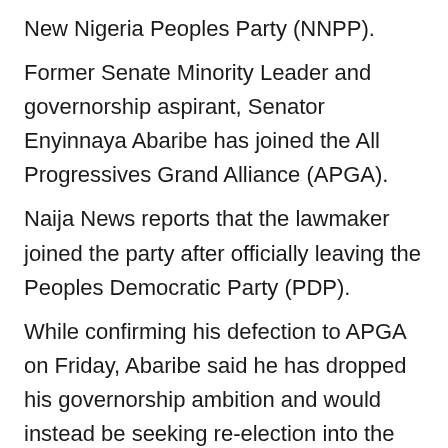New Nigeria Peoples Party (NNPP).
Former Senate Minority Leader and governorship aspirant, Senator Enyinnaya Abaribe has joined the All Progressives Grand Alliance (APGA).
Naija News reports that the lawmaker joined the party after officially leaving the Peoples Democratic Party (PDP).
While confirming his defection to APGA on Friday, Abaribe said he has dropped his governorship ambition and would instead be seeking re-election into the senate on the platform.
He told Vanguard that he will be participating in the party's senatorial primaries on Saturday.
Delegates were in favour of Senator Aisha Dahiru